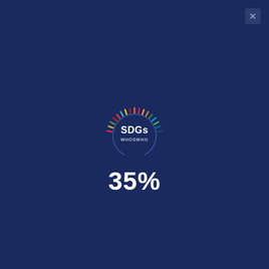[Figure (logo): SDGs WhoswWho logo — a semicircular arrangement of colorful radial tick marks above a circular emblem containing the text 'SDGs' in large letters and 'WHOSWHO' in smaller letters below, with a dark navy background]
35%